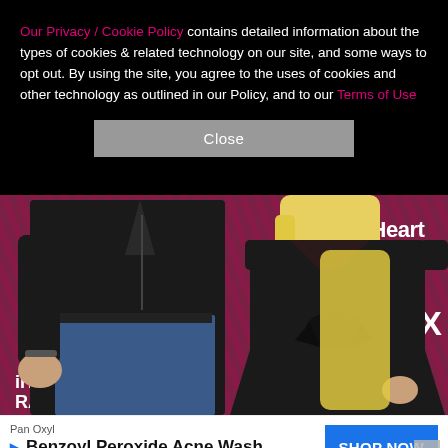Our Privacy / Cookie Policy contains detailed information about the types of cookies & related technology on our site, and some ways to opt out. By using the site, you agree to the uses of cookies and other technology as outlined in our Policy, and to our Terms of Use
[Figure (photo): Two people standing at the iHeartRadio event red carpet. A man in a black leather jacket and jeans stands next to a blonde woman in a black dress. iHeartRadio and FOX logos visible in background.]
Pan Oxyl Benzoyl Peroxide Acne Wash SHOP NOW